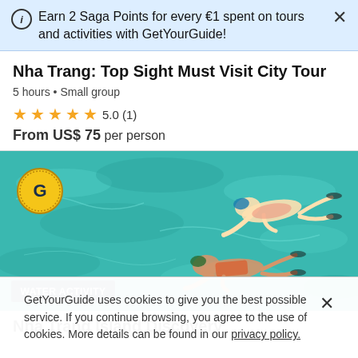Earn 2 Saga Points for every €1 spent on tours and activities with GetYourGuide!
Nha Trang: Top Sight Must Visit City Tour
5 hours • Small group
★★★★★ 5.0 (1)
From US$ 75 per person
[Figure (photo): Two people snorkeling in turquoise water, viewed from above. GetYourGuide badge in top-left corner. 'WATER ACTIVITY' label at bottom-left.]
Nha Trang Island Discovery
GetYourGuide uses cookies to give you the best possible service. If you continue browsing, you agree to the use of cookies. More details can be found in our privacy policy.